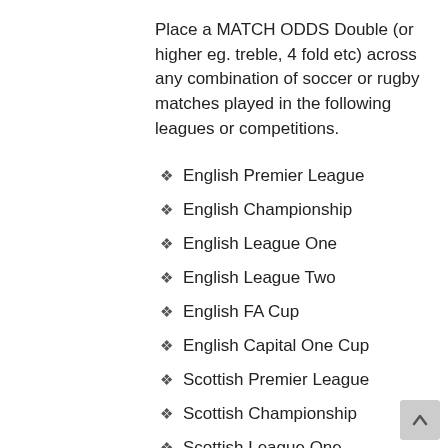Place a MATCH ODDS Double (or higher eg. treble, 4 fold etc) across any combination of soccer or rugby matches played in the following leagues or competitions.
English Premier League
English Championship
English League One
English League Two
English FA Cup
English Capital One Cup
Scottish Premier League
Scottish Championship
Scottish League One